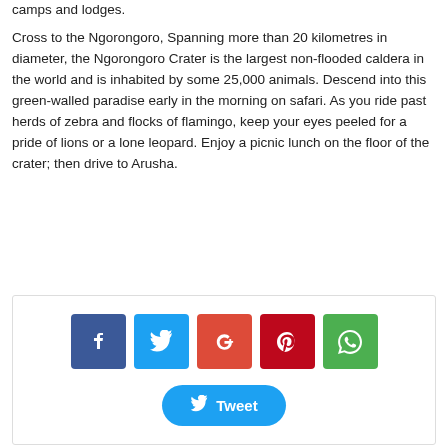camps and lodges.
Cross to the Ngorongoro, Spanning more than 20 kilometres in diameter, the Ngorongoro Crater is the largest non-flooded caldera in the world and is inhabited by some 25,000 animals. Descend into this green-walled paradise early in the morning on safari. As you ride past herds of zebra and flocks of flamingo, keep your eyes peeled for a pride of lions or a lone leopard. Enjoy a picnic lunch on the floor of the crater; then drive to Arusha.
[Figure (other): Social sharing buttons: Facebook, Twitter, Google+, Pinterest, WhatsApp icons in colored squares, and a Twitter Tweet button below]